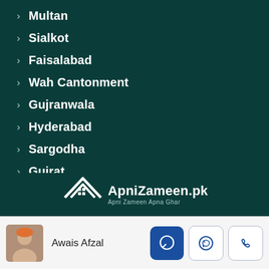> Multan
> Sialkot
> Faisalabad
> Wah Cantonment
> Gujranwala
> Hyderabad
> Sargodha
> Gujrat
[Figure (logo): ApniZameen.pk logo with house/roof SVG icon and tagline 'Apni Zameen Apna Ghar']
Awais Afzal